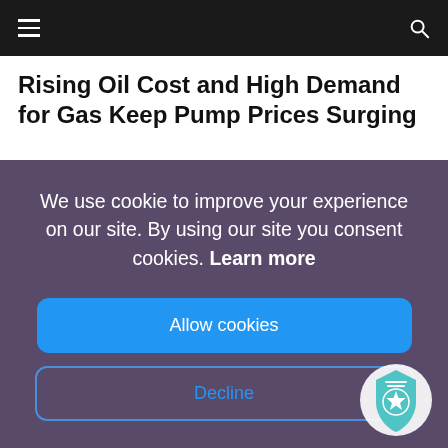Navigation bar with hamburger menu and search icon
Rising Oil Cost and High Demand for Gas Keep Pump Prices Surging
We use cookie to improve your experience on our site. By using our site you consent cookies. Learn more
Allow cookies
Decline
[Figure (logo): Teal shield/badge icon with a star and horizontal lines, bottom right corner]